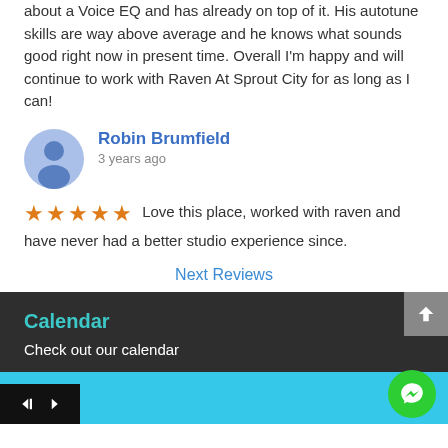about a Voice EQ and has already on top of it. His autotune skills are way above average and he knows what sounds good right now in present time. Overall I'm happy and will continue to work with Raven At Sprout City for as long as I can!
Robin Brumfield
3 years ago
★★★★★ Love this place, worked with raven and have never had a better studio experience since.
Next Reviews
Calendar
Check out our calendar